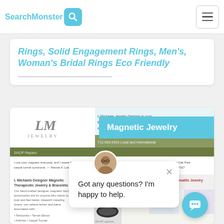SearchMonster [search icon] [menu button]
Rings, Solid Engagement Rings, Men's, Woman's Bridal Rings Eco Friendly
[Figure (screenshot): Screenshot of LM Jewelry website showing magnetic jewelry products, including bracelets and hematite jewelry. Overlaid with a chat popup reading 'Got any questions? I'm happy to help.' and a 'Magnetic Jewelry' label banner. A chat bubble button is visible in the bottom right.]